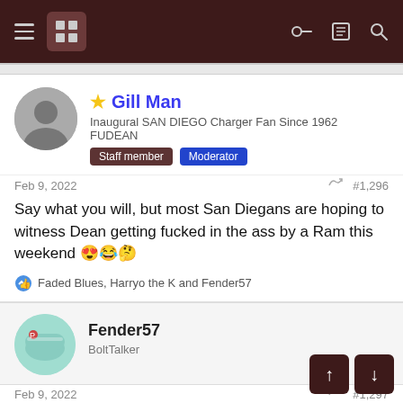Forum navigation header with hamburger menu, logo, key, list, and search icons
★ Gill Man
Inaugural SAN DIEGO Charger Fan Since 1962 FUDEAN
Staff member  Moderator
Feb 9, 2022  #1,296
Say what you will, but most San Diegans are hoping to witness Dean getting fucked in the ass by a Ram this weekend 😍😂🤔
👍 Faded Blues, Harryo the K and Fender57
Fender57
BoltTalker
Feb 9, 2022  #1,297
Harryo the K said: ⊕